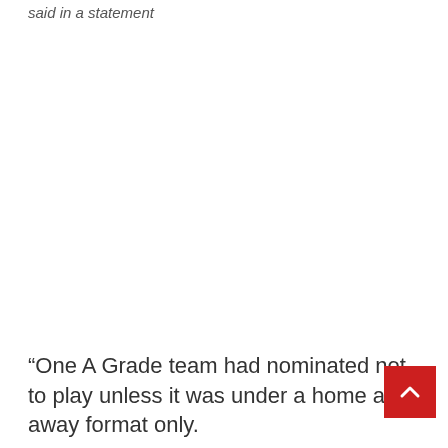said in a statement
“One A Grade team had nominated not to play unless it was under a home and away format only.